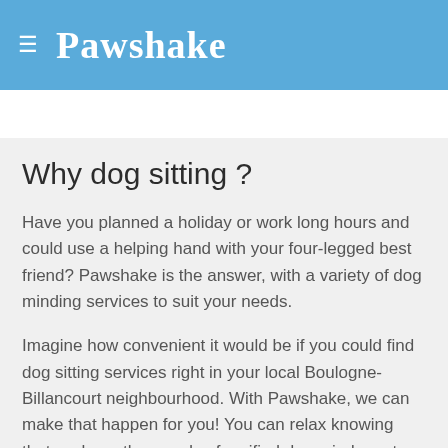≡ Pawshake
Why dog sitting ?
Have you planned a holiday or work long hours and could use a helping hand with your four-legged best friend? Pawshake is the answer, with a variety of dog minding services to suit your needs.
Imagine how convenient it would be if you could find dog sitting services right in your local Boulogne-Billancourt neighbourhood. With Pawshake, we can make that happen for you! You can relax knowing that we have thousands of verified dog minders at your fingertips who live in or around the Boulogne-Billancourt area. All of our dog sitting specialists are experts in dog care, providing belly rubs, fun